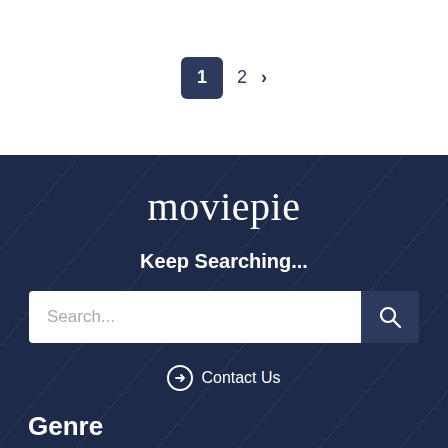1  2  >
moviepie
Keep Searching...
Search...
Contact Us
Genre